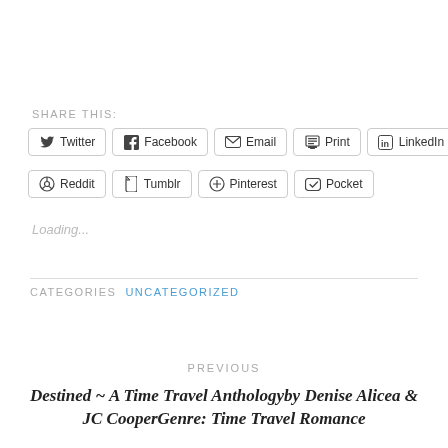SHARE THIS:
Twitter
Facebook
Email
Print
LinkedIn
Reddit
Tumblr
Pinterest
Pocket
Loading...
CATEGORIES UNCATEGORIZED
PREVIOUS
Destined ~ A Time Travel Anthologyby Denise Alicea & JC CooperGenre: Time Travel Romance